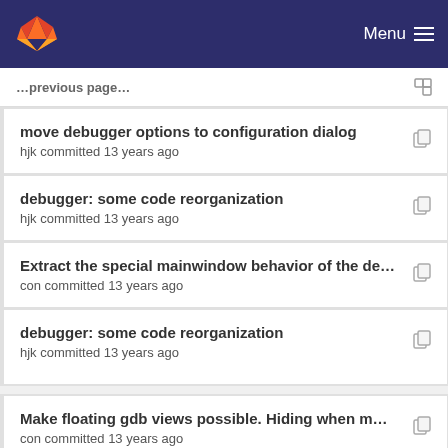GitLab Menu
move debugger options to configuration dialog
hjk committed 13 years ago
debugger: some code reorganization
hjk committed 13 years ago
Extract the special mainwindow behavior of the de…
con committed 13 years ago
debugger: some code reorganization
hjk committed 13 years ago
Make floating gdb views possible. Hiding when m…
con committed 13 years ago
debugger: some code reorganization
hjk committed 13 years ago
Fix crash on shutdown.